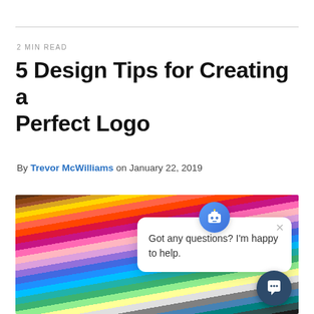2 MIN READ
5 Design Tips for Creating a Perfect Logo
By Trevor McWilliams on January 22, 2019
[Figure (photo): A fan of colorful paper swatches in a rainbow of colors arranged in a spread, with a chat widget overlay showing 'Got any questions? I'm happy to help.']